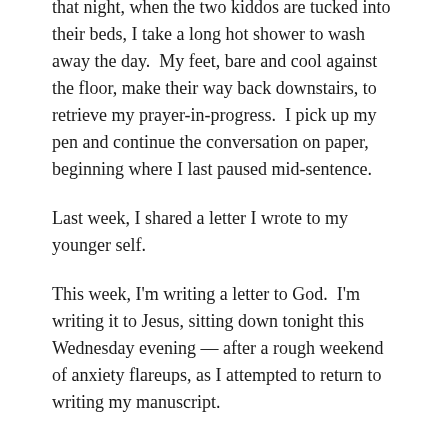that night, when the two kiddos are tucked into their beds, I take a long hot shower to wash away the day.  My feet, bare and cool against the floor, make their way back downstairs, to retrieve my prayer-in-progress.  I pick up my pen and continue the conversation on paper, beginning where I last paused mid-sentence.
Last week, I shared a letter I wrote to my younger self.
This week, I'm writing a letter to God.  I'm writing it to Jesus, sitting down tonight this Wednesday evening — after a rough weekend of anxiety flareups, as I attempted to return to writing my manuscript.
~~~~~
Dear Jesus,